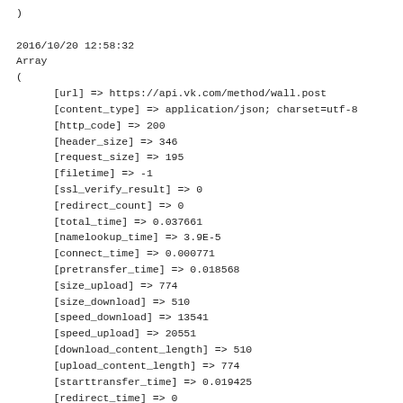)

2016/10/20 12:58:32
Array
(
    [url] => https://api.vk.com/method/wall.post
    [content_type] => application/json; charset=utf-8
    [http_code] => 200
    [header_size] => 346
    [request_size] => 195
    [filetime] => -1
    [ssl_verify_result] => 0
    [redirect_count] => 0
    [total_time] => 0.037661
    [namelookup_time] => 3.9E-5
    [connect_time] => 0.000771
    [pretransfer_time] => 0.018568
    [size_upload] => 774
    [size_download] => 510
    [speed_download] => 13541
    [speed_upload] => 20551
    [download_content_length] => 510
    [upload_content_length] => 774
    [starttransfer_time] => 0.019425
    [redirect_time] => 0
    [redirect_url] =>
    [primary_ip] => 87.240.165.72
    [certinfo] => Array
            (
            )